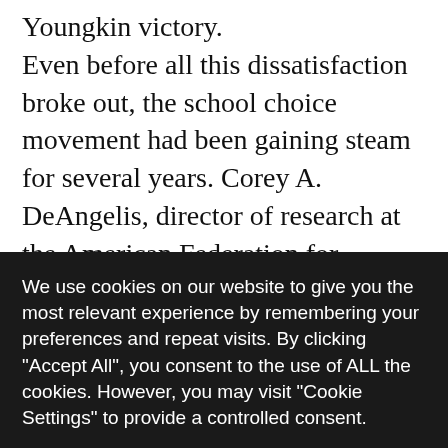Youngkin victory.
Even before all this dissatisfaction broke out, the school choice movement had been gaining steam for several years. Corey A. DeAngelis, director of research at the American Federation for Children (AFC), keeps track of school choice bills introduced in the state legislatures. (DeAngelis was previously a policy analyst at Reason Foundation, the nonprofit that publishes this magazine.) As of
We use cookies on our website to give you the most relevant experience by remembering your preferences and repeat visits. By clicking "Accept All", you consent to the use of ALL the cookies. However, you may visit "Cookie Settings" to provide a controlled consent.